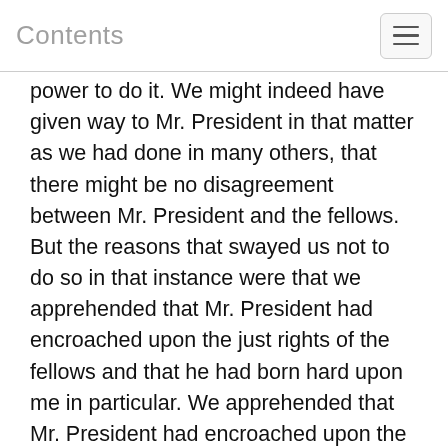Contents
power to do it. We might indeed have given way to Mr. President in that matter as we had done in many others, that there might be no disagreement between Mr. President and the fellows. But the reasons that swayed us not to do so in that instance were that we apprehended that Mr. President had encroached upon the just rights of the fellows and that he had born hard upon me in particular. We apprehended that Mr. President had encroached upon the rights of the Fellows. I shall here mention several matters of fact that look that way. The disposition of the study's alwayes used to be made by Mr. President with the fellows, but of late years Mr. President has taken it intirely into his own hands, and although we have mentioned to him our dissatisfaction, by